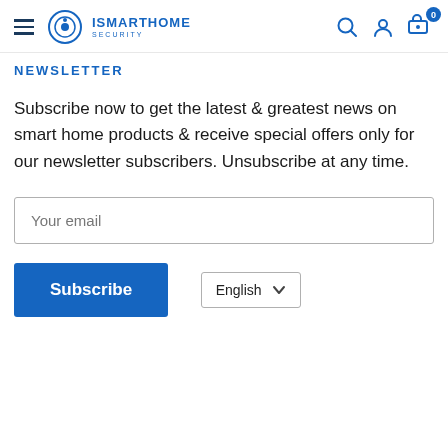ISMARTHOME SECURITY
NEWSLETTER
Subscribe now to get the latest & greatest news on smart home products & receive special offers only for our newsletter subscribers. Unsubscribe at any time.
Your email
Subscribe
English